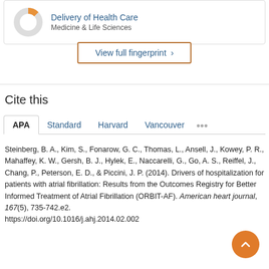[Figure (donut-chart): Small donut chart with orange segment (~13%), mostly grey, representing Medicine & Life Sciences category for Delivery of Health Care]
Delivery of Health Care
Medicine & Life Sciences
View full fingerprint >
Cite this
APA  Standard  Harvard  Vancouver  ...
Steinberg, B. A., Kim, S., Fonarow, G. C., Thomas, L., Ansell, J., Kowey, P. R., Mahaffey, K. W., Gersh, B. J., Hylek, E., Naccarelli, G., Go, A. S., Reiffel, J., Chang, P., Peterson, E. D., & Piccini, J. P. (2014). Drivers of hospitalization for patients with atrial fibrillation: Results from the Outcomes Registry for Better Informed Treatment of Atrial Fibrillation (ORBIT-AF). American heart journal, 167(5), 735-742.e2. https://doi.org/10.1016/j.ahj.2014.02.002